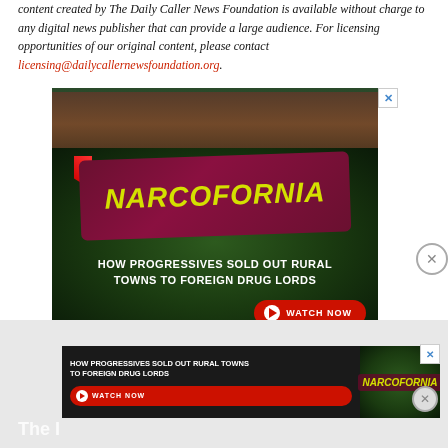content created by The Daily Caller News Foundation is available without charge to any digital news publisher that can provide a large audience. For licensing opportunities of our original content, please contact licensing@dailycallernewsfoundation.org.
[Figure (photo): Advertisement for 'Narcofornia' documentary showing a person wearing sunglasses with cannabis leaves, text reads 'HOW PROGRESSIVES SOLD OUT RURAL TOWNS TO FOREIGN DRUG LORDS' with a WATCH NOW button]
[Figure (photo): Smaller repeated advertisement for 'Narcofornia' documentary at bottom of page with same messaging and WATCH NOW button]